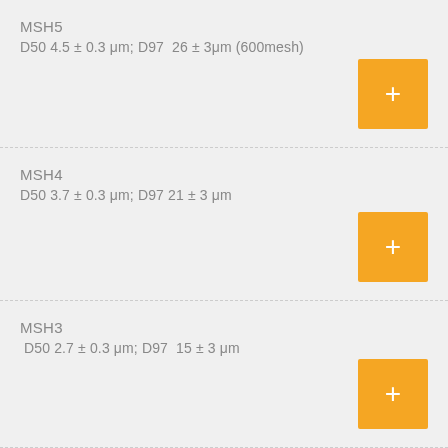MSH5
D50 4.5 ± 0.3 μm; D97  26 ± 3μm (600mesh)
MSH4
D50 3.7 ± 0.3 μm; D97 21 ± 3 μm
MSH3
D50 2.7 ± 0.3 μm; D97  15 ± 3 μm